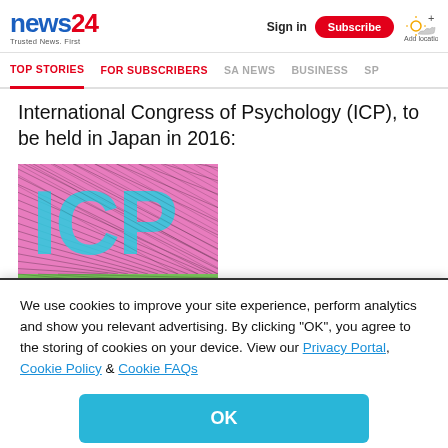news24 Trusted News. First | Sign in | Subscribe | Add location
TOP STORIES | FOR SUBSCRIBERS | SA NEWS | BUSINESS | SP
International Congress of Psychology (ICP), to be held in Japan in 2016:
[Figure (illustration): ICP logo image with colorful hatched pattern — pink, cyan and green diagonal lines forming letters ICP]
We use cookies to improve your site experience, perform analytics and show you relevant advertising. By clicking "OK", you agree to the storing of cookies on your device. View our Privacy Portal, Cookie Policy & Cookie FAQs
OK